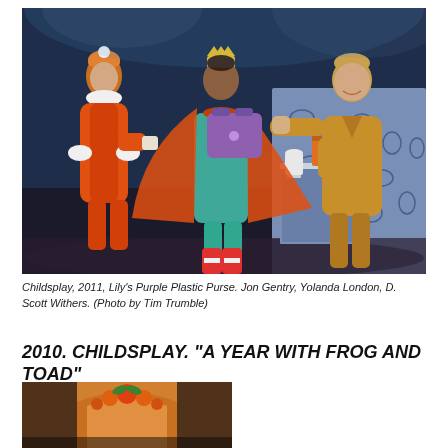[Figure (photo): Theater stage photo of three performers in costume. Left: actor in orange coat with white fur trim and orange hat. Center: actor in teal dress with orange cape and small yellow crown, holding a purple handbag. Right: actor in mustard/yellow jacket reaching toward the purse. A display table with colorful handbags is on the right side of the stage against a blue patterned backdrop.]
Childsplay, 2011, Lily's Purple Plastic Purse. Jon Gentry, Yolanda London, D. Scott Withers. (Photo by Tim Trumble)
2010. CHILDSPLAY. "A YEAR WITH FROG AND TOAD"
[Figure (photo): Partial theater stage photo showing an arched doorway or window with orange floral decoration above it, warm amber and orange tones suggesting an interior set.]